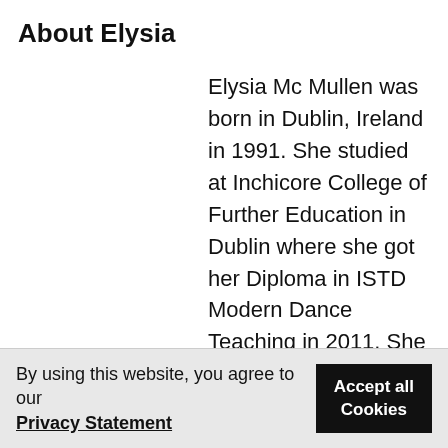About Elysia
Elysia Mc Mullen was born in Dublin, Ireland in 1991. She studied at Inchicore College of Further Education in Dublin where she got her Diploma in ISTD Modern Dance Teaching in 2011. She then continued her studies in Fontys Hogeschool voor de Kunsten in Tilburg, Netherlands, in the Dance Theatre/Modern Department and
By using this website, you agree to our Privacy Statement | Accept all Cookies